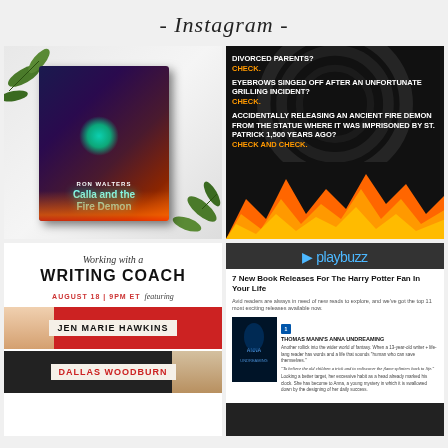- Instagram -
[Figure (photo): Book cover for 'Calla and the Fire Demon' by Ron Walters, shown on a marble surface with green leaves]
[Figure (infographic): Dark background with fire and flames at bottom. Text: DIVORCED PARENTS? CHECK. EYEBROWS SINGED OFF AFTER AN UNFORTUNATE GRILLING INCIDENT? CHECK. ACCIDENTALLY RELEASING AN ANCIENT FIRE DEMON FROM THE STATUE WHERE IT WAS IMPRISONED BY ST. PATRICK 1,500 YEARS AGO? CHECK AND CHECK.]
[Figure (infographic): Working with a WRITING COACH event promo for AUGUST 18 | 9PM ET featuring JEN MARIE HAWKINS and DALLAS WOODBURN]
[Figure (screenshot): Playbuzz article: 7 New Book Releases For The Harry Potter Fan In Your Life. Avid readers are always in need of new reads to explore, and we've got the top 11 most exciting releases available now. Shows book cover for Anna Undreaming by Thomas Mann.]